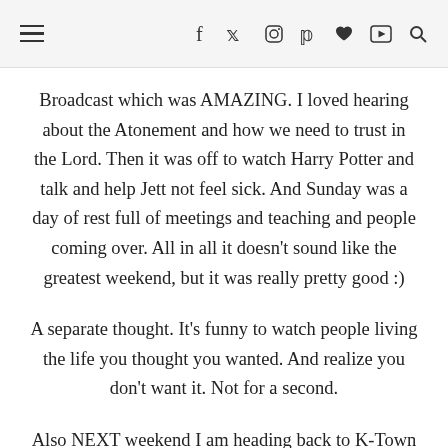≡  f  𝕏  📷  ℗  ♥  ▶  🔍
Broadcast which was AMAZING. I loved hearing about the Atonement and how we need to trust in the Lord. Then it was off to watch Harry Potter and talk and help Jett not feel sick. And Sunday was a day of rest full of meetings and teaching and people coming over. All in all it doesn't sound like the greatest weekend, but it was really pretty good :)
A separate thought. It's funny to watch people living the life you thought you wanted. And realize you don't want it. Not for a second.
Also NEXT weekend I am heading back to K-Town :) So that'll be exciting :)